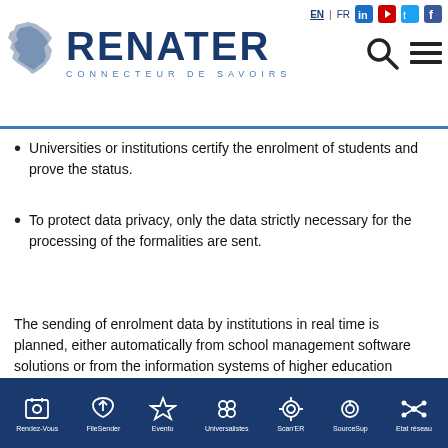[Figure (logo): RENATER logo with France silhouette and tagline CONNECTEUR DE SAVOIRS, plus search and hamburger menu icons, top navigation with EN/FR and social media icons]
Universities or institutions certify the enrolment of students and prove the status.
To protect data privacy, only the data strictly necessary for the processing of the formalities are sent.
The sending of enrolment data by institutions in real time is planned, either automatically from school management software solutions or from the information systems of higher education institution o
[Figure (infographic): Bottom navigation bar with dark blue background showing icons and labels: Rendez-Vous, FileSender, Evento, Universalistes, Scan'ER, SourceSup, Etat réseau]